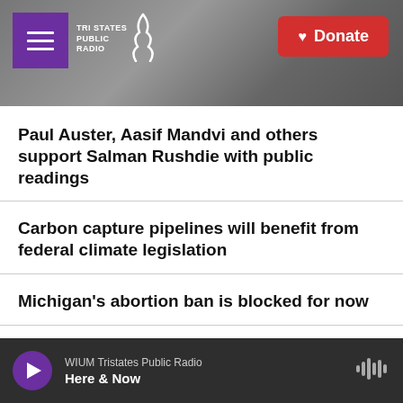[Figure (screenshot): Tri States Public Radio website header with dark stormy sky background, purple menu button, logo, and red Donate button]
Paul Auster, Aasif Mandvi and others support Salman Rushdie with public readings
Carbon capture pipelines will benefit from federal climate legislation
Michigan's abortion ban is blocked for now
Elegant film 'Three Minutes' shows Polish town before it was erased by the Holocaust
WIUM Tristates Public Radio — Here & Now